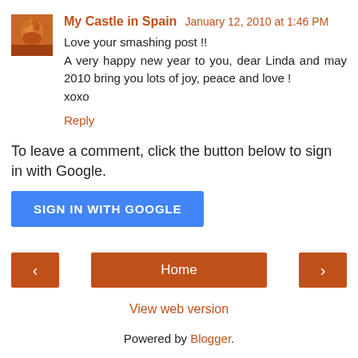My Castle in Spain  January 12, 2010 at 1:46 PM
Love your smashing post !!
A very happy new year to you, dear Linda and may 2010 bring you lots of joy, peace and love !
xoxo
Reply
To leave a comment, click the button below to sign in with Google.
SIGN IN WITH GOOGLE
Home
View web version
Powered by Blogger.